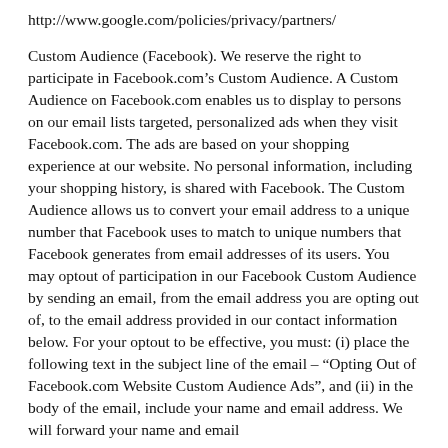http://www.google.com/policies/privacy/partners/
Custom Audience (Facebook). We reserve the right to participate in Facebook.com’s Custom Audience. A Custom Audience on Facebook.com enables us to display to persons on our email lists targeted, personalized ads when they visit Facebook.com. The ads are based on your shopping experience at our website. No personal information, including your shopping history, is shared with Facebook. The Custom Audience allows us to convert your email address to a unique number that Facebook uses to match to unique numbers that Facebook generates from email addresses of its users. You may optout of participation in our Facebook Custom Audience by sending an email, from the email address you are opting out of, to the email address provided in our contact information below. For your optout to be effective, you must: (i) place the following text in the subject line of the email – “Opting Out of Facebook.com Website Custom Audience Ads”, and (ii) in the body of the email, include your name and email address. We will forward your name and email